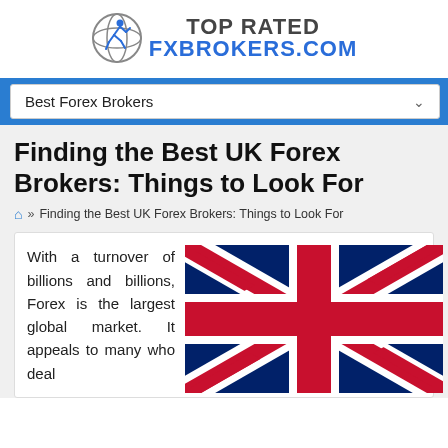[Figure (logo): Top Rated FX Brokers logo with circular icon of a running figure and globe, text: TOP RATED FXBROKERS.COM]
Best Forex Brokers
Finding the Best UK Forex Brokers: Things to Look For
» Finding the Best UK Forex Brokers: Things to Look For
With a turnover of billions and billions, Forex is the largest global market. It appeals to many who deal
[Figure (illustration): UK Union Jack flag illustration]